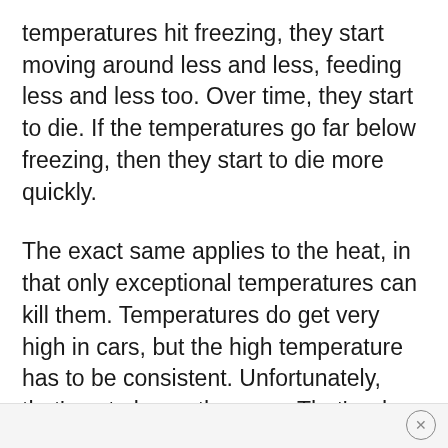temperatures hit freezing, they start moving around less and less, feeding less and less too. Over time, they start to die. If the temperatures go far below freezing, then they start to die more quickly.
The exact same applies to the heat, in that only exceptional temperatures can kill them. Temperatures do get very high in cars, but the high temperature has to be consistent. Unfortunately, that’s not always the case. That’s why you have to take matters into your own hands and deal with the infestation yourself.